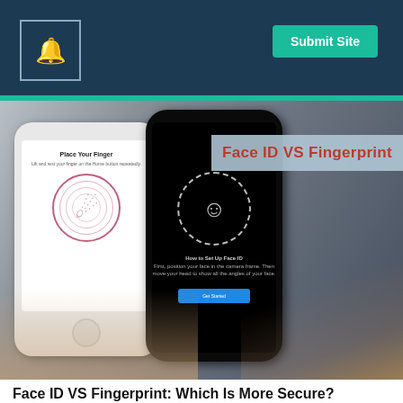[Figure (photo): Two smartphones held by hands: a white iPhone showing a fingerprint sensor setup screen ('Place Your Finger'), and a black iPhone showing the Face ID setup screen ('How to Set Up Face ID'). An overlay label reads 'Face ID VS Fingerprint' in red text on a translucent blue-grey background.]
Face ID VS Fingerprint: Which Is More Secure?
Our data is the most precious asset for us. We have to keep it safe from cybercriminals. Therefore, we must know about security apps to protect our phone and personal data. Now the question is: Face ID VS Fingerprint: Which is more secure? And which one is to be chosen?